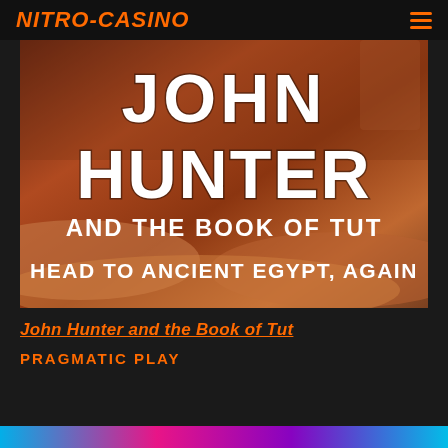NITRO-CASINO
[Figure (illustration): Promotional banner for 'John Hunter and the Book of Tut' slot game. Large bold white text reads 'JOHN HUNTER' and 'AND THE BOOK OF TUT' with subtitle 'HEAD TO ANCIENT EGYPT, AGAIN' on a desert/Egyptian themed background with warm orange-brown tones.]
John Hunter and the Book of Tut
PRAGMATIC PLAY
[Figure (illustration): Partial bottom strip showing colorful game graphics in blue, pink and cyan tones.]